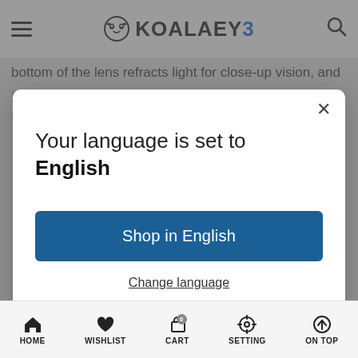KOALAEYE
bottom of the lens refracts light for close-up vision, and the top portion refracts light to allow you to see at a dist...
[Figure (screenshot): Language selection modal dialog on KoalaEye website with 'Your language is set to English' message, a blue 'Shop in English' button, and a 'Change language' link. Background shows the website header with logo and bottom navigation bar with HOME, WISHLIST, CART, SETTING, ON TOP items.]